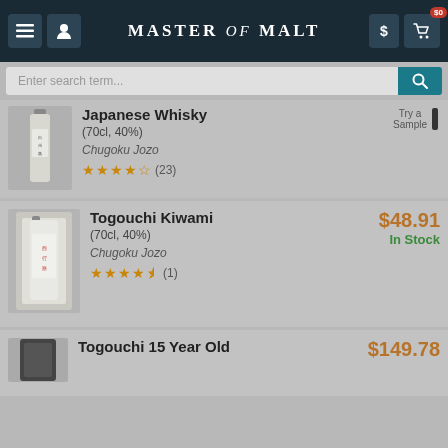Master of Malt
Enter search term...
Japanese Whisky
(70cl, 40%)
Chugoku Jozo
★★★★☆ (23)
Togouchi Kiwami
(70cl, 40%)
Chugoku Jozo
★★★★½ (1)
$48.91
In Stock
$149.78
Togouchi 15 Year Old